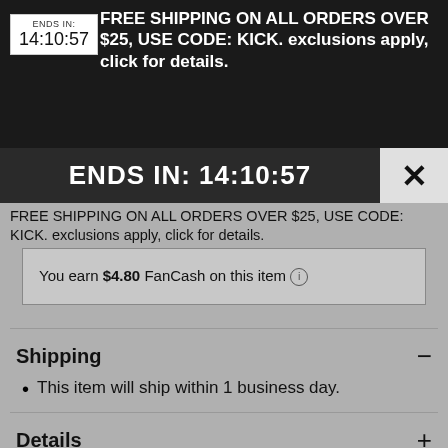[Figure (screenshot): Top dark banner with timer box showing 'ENDS IN: 14:10:57' and promotional text about free shipping]
ENDS IN: 14:10:57
FREE SHIPPING ON ALL ORDERS OVER $25, USE CODE: KICK. exclusions apply, click for details.
FREE SHIPPING ON ALL ORDERS OVER $25, USE CODE: KICK. exclusions apply, click for details.
You earn $4.80 FanCash on this item
Shipping
This item will ship within 1 business day.
Details
Description